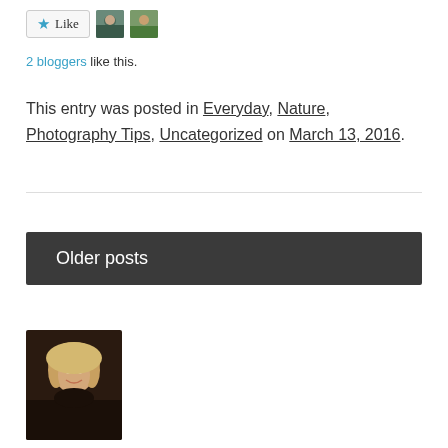[Figure (other): Like button with star icon and two blogger avatar thumbnails]
2 bloggers like this.
This entry was posted in Everyday, Nature, Photography Tips, Uncategorized on March 13, 2016.
[Figure (other): Older posts navigation bar with dark background]
[Figure (photo): Profile photo of a blonde woman smiling]